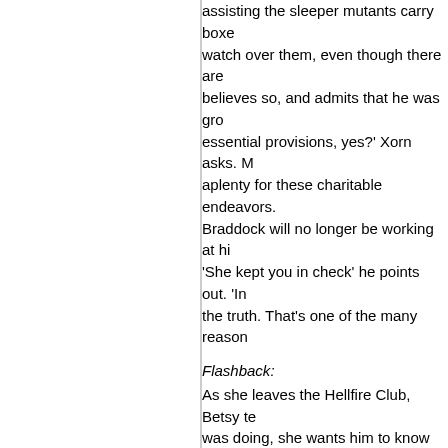assisting the sleeper mutants carry boxe... watch over them, even though there are... believes so, and admits that he was gro... essential provisions, yes?' Xorn asks. M... aplenty for these charitable endeavors. Braddock will no longer be working at hi... 'She kept you in check' he points out. 'In... the truth. That's one of the many reason...
Flashback:
As she leaves the Hellfire Club, Betsy te... was doing, she wants him to know that. do. But I didn't expect all the secrets' sh...
Present:
Xorn remarks that he is curious, and rem... believe in a mutant refuge. 'But is that n... least to some degree. But I made a prom...
Flashback :
Betsy and Magneto's silent looks continu... and that she is going to be watching him... Magneto...Magneto...